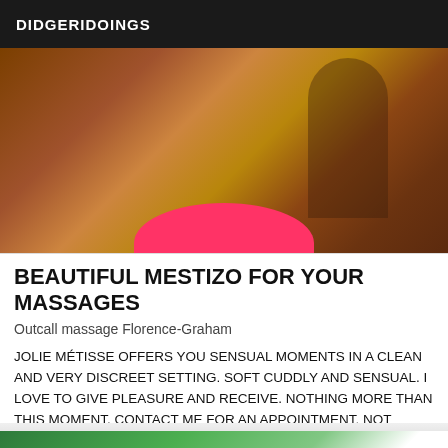DIDGERIDOINGS
[Figure (photo): Close-up photo of a person from behind wearing pink clothing, with warm brown tones]
BEAUTIFUL MESTIZO FOR YOUR MASSAGES
Outcall massage Florence-Graham
JOLIE MÉTISSE OFFERS YOU SENSUAL MOMENTS IN A CLEAN AND VERY DISCREET SETTING. SOFT CUDDLY AND SENSUAL. I LOVE TO GIVE PLEASURE AND RECEIVE. NOTHING MORE THAN THIS MOMENT. CONTACT ME FOR AN APPOINTMENT. NOT SERIOUS ABSTAIN
[Figure (photo): Partial photo showing green tropical plant leaves at the bottom of the page]